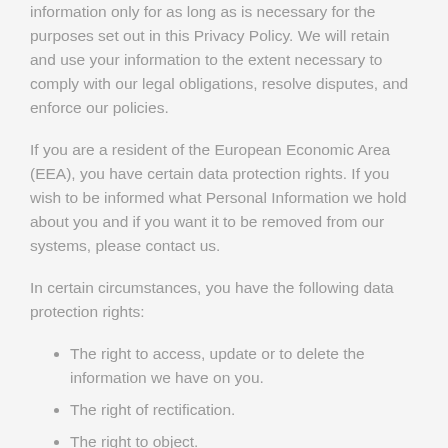information only for as long as is necessary for the purposes set out in this Privacy Policy. We will retain and use your information to the extent necessary to comply with our legal obligations, resolve disputes, and enforce our policies.
If you are a resident of the European Economic Area (EEA), you have certain data protection rights. If you wish to be informed what Personal Information we hold about you and if you want it to be removed from our systems, please contact us.
In certain circumstances, you have the following data protection rights:
The right to access, update or to delete the information we have on you.
The right of rectification.
The right to object.